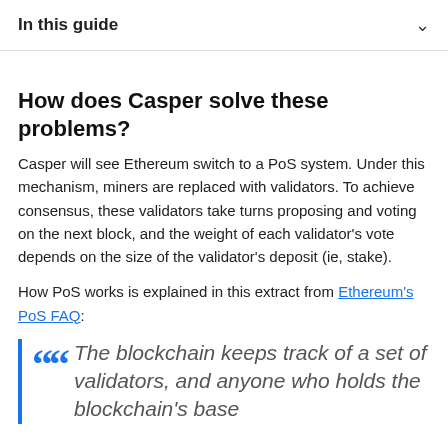In this guide
How does Casper solve these problems?
Casper will see Ethereum switch to a PoS system. Under this mechanism, miners are replaced with validators. To achieve consensus, these validators take turns proposing and voting on the next block, and the weight of each validator's vote depends on the size of the validator's deposit (ie, stake).
How PoS works is explained in this extract from Ethereum's PoS FAQ:
The blockchain keeps track of a set of validators, and anyone who holds the blockchain's base